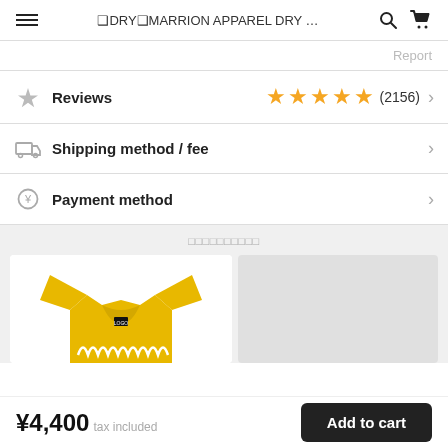≡ ❑DRY❑MARRION APPAREL DRY … 🔍 🛒
Report
Reviews (2156) ★★★★★
Shipping method / fee
Payment method
（関連商品一覧）
[Figure (photo): Yellow long-sleeve shirt with Marrion brand graphic print]
¥4,400 tax included
Add to cart